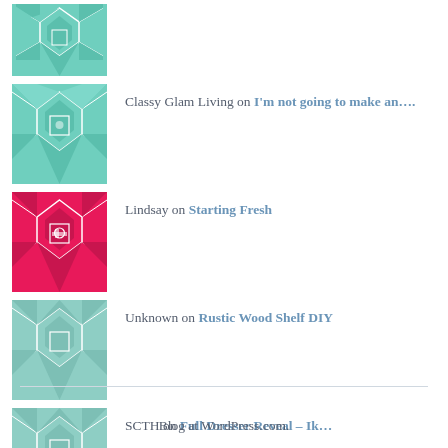(avatar image - teal quilt pattern, no text)
Classy Glam Living on I'm not going to make an....
Lindsay on Starting Fresh
Unknown on Rustic Wood Shelf DIY
SCTH on Full Dresser Reveal – Ik...
Jyoti Singh on Decorating a Beige Living Room
Blog at WordPress.com.